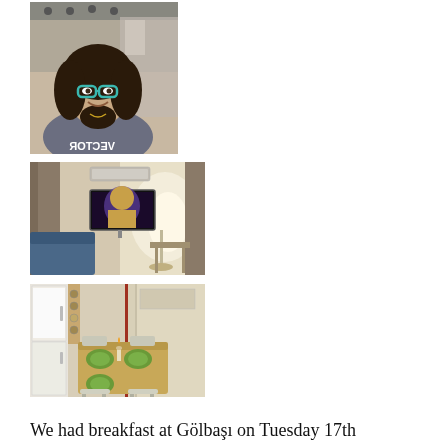[Figure (photo): Woman with curly hair and teal glasses smiling in what appears to be a hair salon]
[Figure (photo): Interior room with a TV on the wall showing content, a lamp, curtains, and furniture]
[Figure (photo): Indoor dining area with a wooden table set with green plates, chairs, a wine rack, and kitchen appliances]
We had breakfast at Gölbaşı on Tuesday 17th